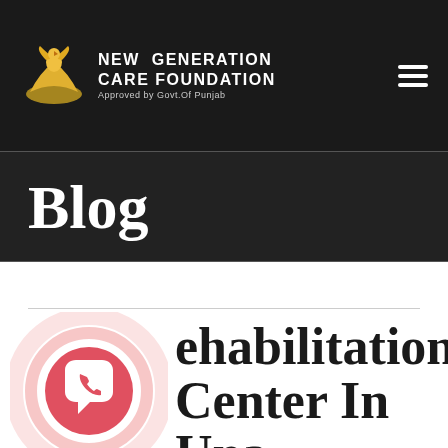[Figure (logo): New Generation Care Foundation logo with golden bird/hand icon and organization name in white on dark background, Approved by Govt.Of Punjab]
NEW GENERATION CARE FOUNDATION
Approved by Govt.Of Punjab
Blog
[Figure (illustration): WhatsApp floating chat button icon — circular red/pink gradient ring with WhatsApp logo in center]
Rehabilitation Center In Una